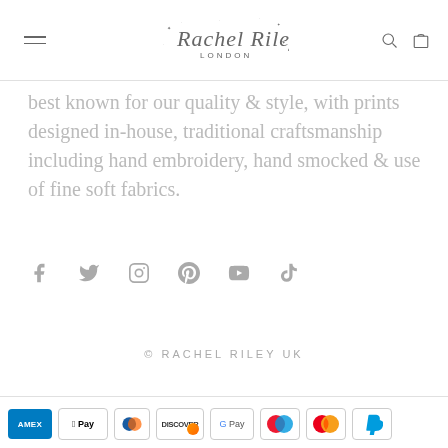Rachel Riley London - navigation header
best known for our quality & style, with prints designed in-house, traditional craftsmanship including hand embroidery, hand smocked & use of fine soft fabrics.
[Figure (infographic): Social media icons row: Facebook, Twitter, Instagram, Pinterest, YouTube, TikTok]
© RACHEL RILEY UK
[Figure (infographic): Payment method logos: American Express, Apple Pay, Diners Club, Discover, Google Pay, Maestro, Mastercard, PayPal]